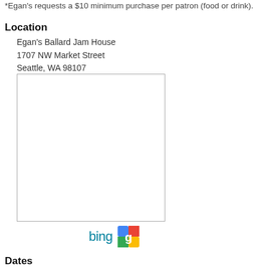*Egan's requests a $10 minimum purchase per patron (food or drink).
Location
Egan's Ballard Jam House
1707 NW Market Street
Seattle, WA 98107
United States
[Figure (map): Embedded map placeholder showing location of Egan's Ballard Jam House]
[Figure (logo): Bing and Google Maps logos for map links]
Dates